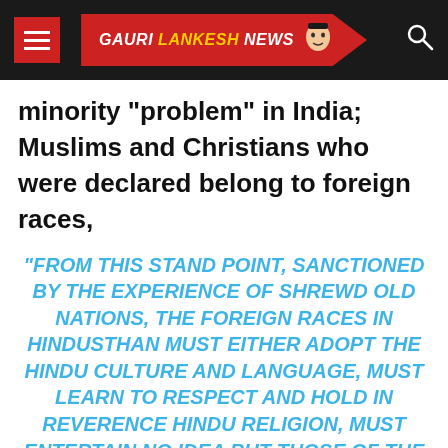GAURI LANKESH NEWS
minority "problem" in India; Muslims and Christians who were declared belong to foreign races,
“FROM THIS STAND POINT, SANCTIONED BY THE EXPERIENCE OF SHREWD OLD NATIONS, THE FOREIGN RACES IN HINDUSTHAN MUST EITHER ADOPT THE HINDU CULTURE AND LANGUAGE, MUST LEARN TO RESPECT AND HOLD IN REVERENCE HINDU RELIGION, MUST ENTERTAIN NO IDEA BUT THOSE OF THE GLORIFICATION OF THE HINDU RACE AND CULTURE, I.E.